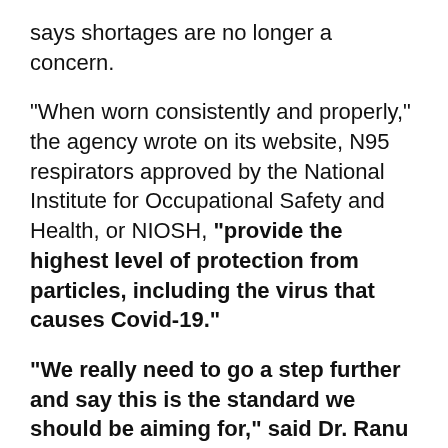says shortages are no longer a concern.
"When worn consistently and properly," the agency wrote on its website, N95 respirators approved by the National Institute for Occupational Safety and Health, or NIOSH, "provide the highest level of protection from particles, including the virus that causes Covid-19."
"We really need to go a step further and say this is the standard we should be aiming for," said Dr. Ranu Dhillon, a global health physician at the Harvard Medical